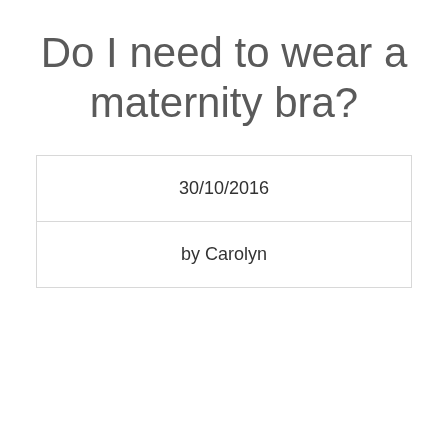Do I need to wear a maternity bra?
| 30/10/2016 |
| by Carolyn |